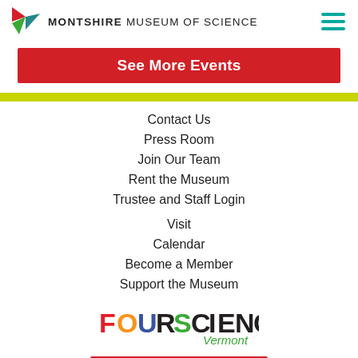MONTSHIRE MUSEUM OF SCIENCE
See More Events
Contact Us
Press Room
Join Our Team
Rent the Museum
Trustee and Staff Login
Visit
Calendar
Become a Member
Support the Museum
[Figure (logo): FOURSCIENCE Vermont logo with colorful letters]
Sign-up for our newsletter
Connect
[Figure (illustration): Row of social media icons: Facebook, Twitter, Instagram, YouTube, and another]